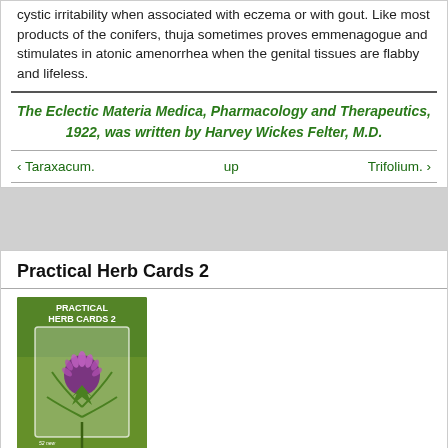cystic irritability when associated with eczema or with gout. Like most products of the conifers, thuja sometimes proves emmenagogue and stimulates in atonic amenorrhea when the genital tissues are flabby and lifeless.
The Eclectic Materia Medica, Pharmacology and Therapeutics, 1922, was written by Harvey Wickes Felter, M.D.
‹ Taraxacum.    up    Trifolium. ›
Practical Herb Cards 2
[Figure (photo): Book cover of Practical Herb Cards 2 by Henriette Kress, showing a purple thistle flower on a green background with white card overlay]
Practical Herb Cards 2 is here. Order your set today!